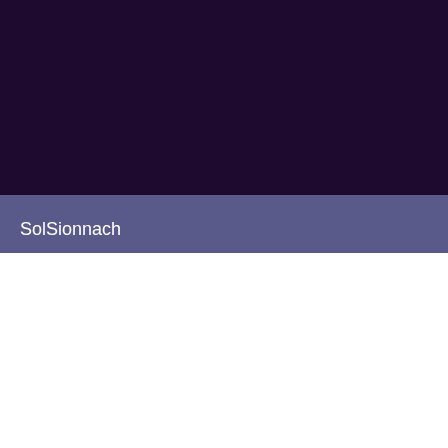[Figure (screenshot): Dark purple background area at top of page]
SolSionnach
Quote:
Originally Posted by gregory
YELLOW DRESS! YELLOW DRESS! YELLOW DRESS!!